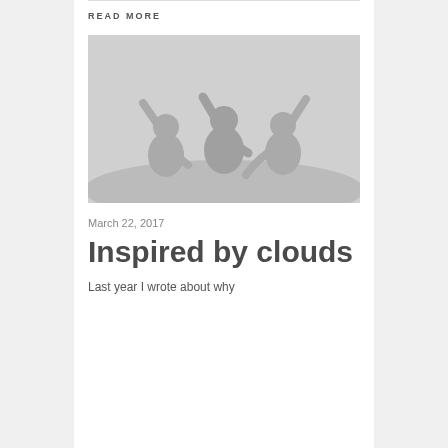READ MORE
[Figure (photo): Silhouette of three people with arms raised against a light background]
March 22, 2017
Inspired by clouds
Last year I wrote about why